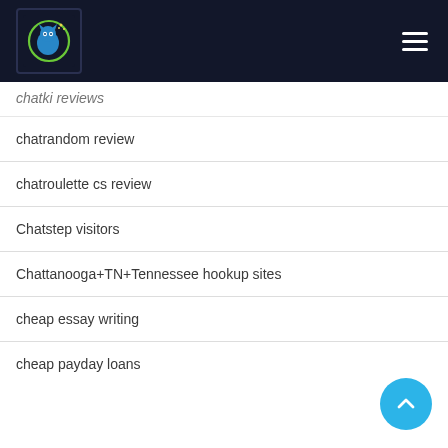[Figure (logo): Website logo with circular design featuring a cat/animal silhouette in blue and green on dark background]
chatki reviews
chatrandom review
chatroulette cs review
Chatstep visitors
Chattanooga+TN+Tennessee hookup sites
cheap essay writing
cheap payday loans